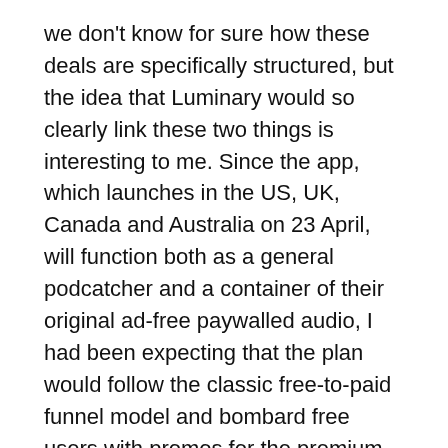we don't know for sure how these deals are specifically structured, but the idea that Luminary would so clearly link these two things is interesting to me. Since the app, which launches in the US, UK, Canada and Australia on 23 April, will function both as a general podcatcher and a container of their original ad-free paywalled audio, I had been expecting that the plan would follow the classic free-to-paid funnel model and bombard free users with promos for the premium content and drive signups that way.
But this seems to suggest that the paywalled shows have both been chosen for their ability to bring an existing audience behind the paywall, and will be rewarded for their efforts in doing so. This